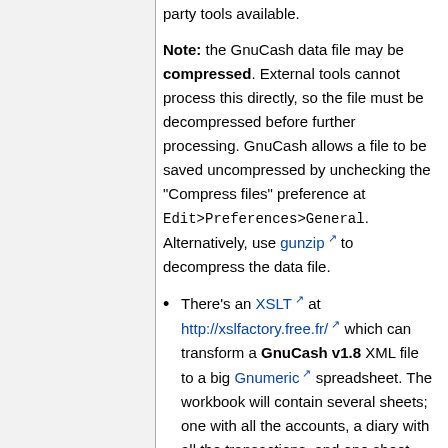party tools available.
Note: the GnuCash data file may be compressed. External tools cannot process this directly, so the file must be decompressed before further processing. GnuCash allows a file to be saved uncompressed by unchecking the "Compress files" preference at Edit>Preferences>General. Alternatively, use gunzip to decompress the data file.
There's an XSLT at http://xslfactory.free.fr/ which can transform a GnuCash v1.8 XML file to a big Gnumeric spreadsheet. The workbook will contain several sheets; one with all the accounts, a diary with all the transactions, and one sheet